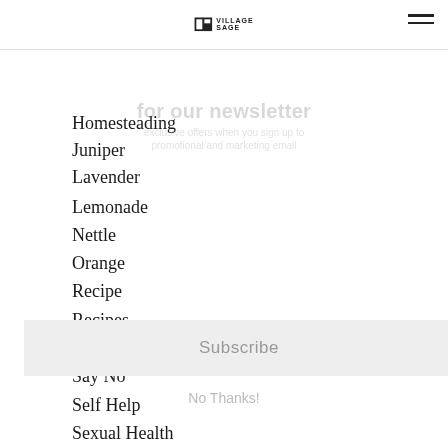Village Sage logo and navigation
Homesteading
Juniper
Lavender
Lemonade
Nettle
Orange
Recipe
Recipes
Rose
Say No
Self Help
Sexual Health
Spruce
Stinging Nettle
St John's Wort
Summer Recipes
Tea